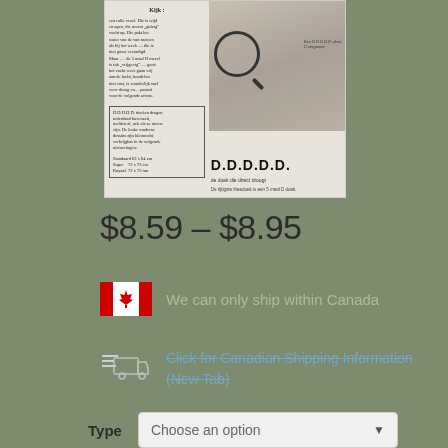[Figure (photo): Vintage Dutch newspaper advertisement for D.D.D.D.D. brand towels (de doek die direct droogt). Black and white ad showing text copy, a magnifying glass, and a person wearing a checkered shirt. Text includes 'Kijk:', product descriptions in Dutch, and sizing information: Standaard 63x64 cm, Super 72x72 cm, Royaal 72x72 mm.]
$8.59 – $8.95
We can only ship within Canada
Click for Canadian Shipping Information (New Tab)
Type
Choose an option